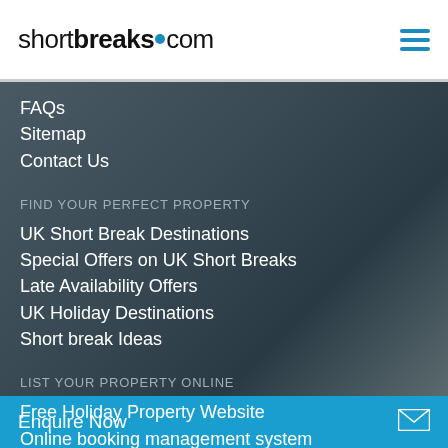shortbreaks.com
FAQs
Sitemap
Contact Us
FIND YOUR PERFECT PROPERTY
UK Short Break Destinations
Special Offers on UK Short Breaks
Late Availability Offers
UK Holiday Destinations
Short break Ideas
LIST YOUR PROPERTY ONLINE
Free Holiday Property Website
Online booking management system
Advertise your holiday property online
Enquire Now